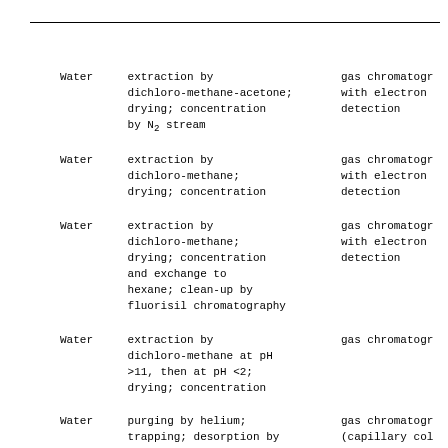| Sample | Preparation | Analysis |
| --- | --- | --- |
| Water | extraction by dichloro-methane-acetone; drying; concentration by N₂ stream | gas chromatography with electron detection |
| Water | extraction by dichloro-methane; drying; concentration | gas chromatography with electron detection |
| Water | extraction by dichloro-methane; drying; concentration and exchange to hexane; clean-up by fluorisil chromatography | gas chromatography with electron detection |
| Water | extraction by dichloro-methane at pH >11, then at pH <2; drying; concentration | gas chromatography |
| Water | purging by helium; trapping; desorption by heating | gas chromatography (capillary column) with mass spectro-metric detection |